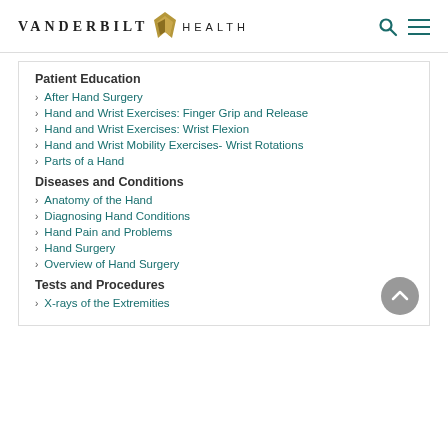VANDERBILT HEALTH
Patient Education
After Hand Surgery
Hand and Wrist Exercises: Finger Grip and Release
Hand and Wrist Exercises: Wrist Flexion
Hand and Wrist Mobility Exercises- Wrist Rotations
Parts of a Hand
Diseases and Conditions
Anatomy of the Hand
Diagnosing Hand Conditions
Hand Pain and Problems
Hand Surgery
Overview of Hand Surgery
Tests and Procedures
X-rays of the Extremities